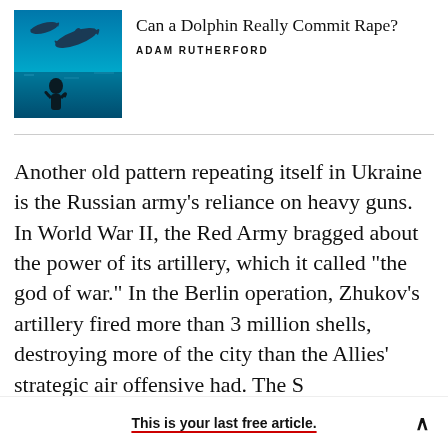[Figure (photo): Thumbnail image with blue underwater/ocean background showing dolphins and silhouette of person]
Can a Dolphin Really Commit Rape?
ADAM RUTHERFORD
Another old pattern repeating itself in Ukraine is the Russian army's reliance on heavy guns. In World War II, the Red Army bragged about the power of its artillery, which it called “the god of war.” In the Berlin operation, Zhukov’s artillery fired more than 3 million shells, destroying more of the city than the Allies’ strategic air offensive had. The Soviets and Koreans both depended
This is your last free article.